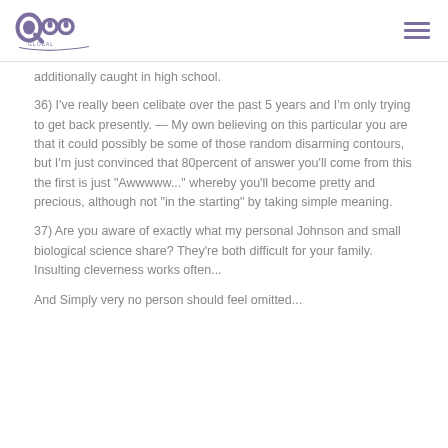QOO Global logo and hamburger menu
additionally caught in high school.
36) I've really been celibate over the past 5 years and I'm only trying to get back presently. — My own believing on this particular you are that it could possibly be some of those random disarming contours, but I'm just convinced that 80percent of answer you'll come from this the first is just "Awwwww..." whereby you'll become pretty and precious, although not "in the starting" by taking simple meaning.
37) Are you aware of exactly what my personal Johnson and small biological science share? They're both difficult for your family. Insulting cleverness works often...
And Simply very no person should feel omitted...